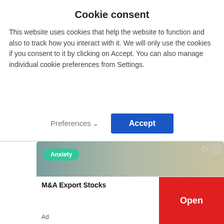Cookie consent
This website uses cookies that help the website to function and also to track how you interact with it. We will only use the cookies if you consent to it by clicking on Accept. You can also manage individual cookie preferences from Settings.
[Figure (screenshot): Cookie consent dialog with Preferences dropdown and Accept button]
[Figure (screenshot): Advertisement banner showing Anxiety article image with green badge, M&A Export Stocks ad with red Open button, and Ad label]